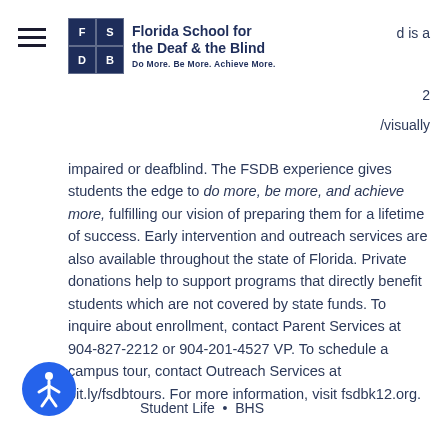[Figure (logo): Florida School for the Deaf & the Blind logo with FSDB grid icon and tagline 'Do More. Be More. Achieve More.']
d is a
2
/visually impaired or deafblind. The FSDB experience gives students the edge to do more, be more, and achieve more, fulfilling our vision of preparing them for a lifetime of success. Early intervention and outreach services are also available throughout the state of Florida. Private donations help to support programs that directly benefit students which are not covered by state funds. To inquire about enrollment, contact Parent Services at 904-827-2212 or 904-201-4527 VP. To schedule a campus tour, contact Outreach Services at bit.ly/fsdbtours. For more information, visit fsdbk12.org.
Student Life  •  BHS